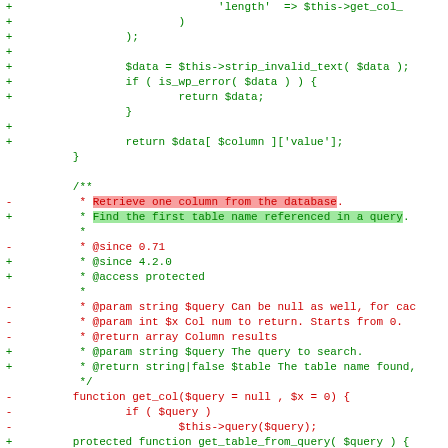[Figure (screenshot): Diff view of PHP code showing changes to a WordPress database class method. Green lines show additions ('+'), red lines show removals ('-'). Includes highlighted diff for docblock changes from 'Retrieve one column from the database' to 'Find the first table name referenced in a query', and function signature changes.]